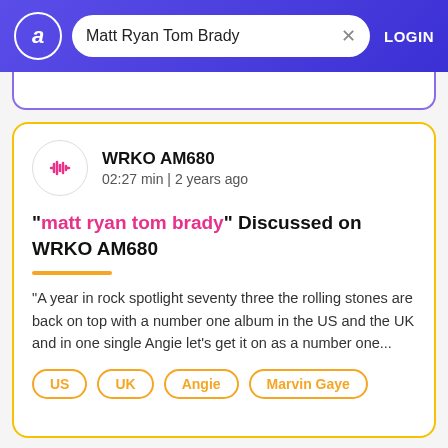Matt Ryan Tom Brady — LOGIN
[Figure (screenshot): Search result card from a radio/audio search app showing WRKO AM680 result for 'matt ryan tom brady']
WRKO AM680
02:27 min | 2 years ago
"matt ryan tom brady" Discussed on WRKO AM680
"A year in rock spotlight seventy three the rolling stones are back on top with a number one album in the US and the UK and in one single Angie let's get it on as a number one...
US
UK
Angie
Marvin Gaye